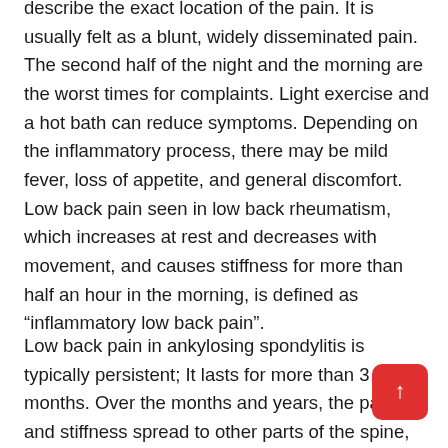describe the exact location of the pain. It is usually felt as a blunt, widely disseminated pain. The second half of the night and the morning are the worst times for complaints. Light exercise and a hot bath can reduce symptoms. Depending on the inflammatory process, there may be mild fever, loss of appetite, and general discomfort. Low back pain seen in low back rheumatism, which increases at rest and decreases with movement, and causes stiffness for more than half an hour in the morning, is defined as "inflammatory low back pain".
Low back pain in ankylosing spondylitis is typically persistent; It lasts for more than 3 months. Over the months and years, the pain and stiffness spread to other parts of the spine, such as the neck. Pain and discomfort may also occur in the ribs, shoulder blades, hips, th... and heels. Depending on the inflammatory process,